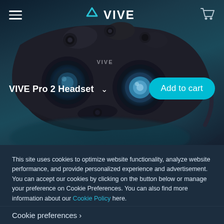[Figure (screenshot): VIVE website header with hamburger menu, VIVE logo with cyan triangle icon, and shopping cart icon on dark blue background]
[Figure (photo): VIVE Pro 2 VR headset product photo shown from front/top angle against dark teal/blue gradient background]
VIVE Pro 2 Headset
Add to cart
This site uses cookies to optimize website functionality, analyze website performance, and provide personalized experience and advertisement. You can accept our cookies by clicking on the button below or manage your preference on Cookie Preferences. You can also find more information about our Cookie Policy here.
Accept
Cookie preferences >